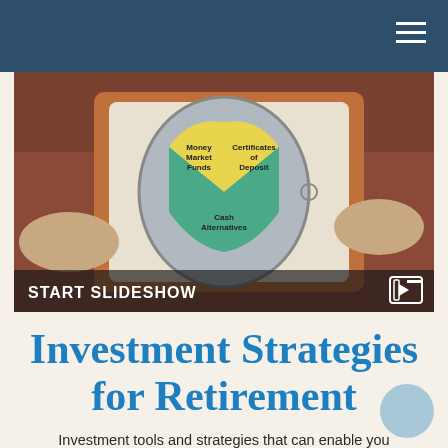[Figure (photo): Hands holding a tablet or board displaying a pie/shield chart with sections labeled Money Market Funds, Certificates of Deposit, and Cash Alternatives. Overlay text at bottom reads START SLIDESHOW.]
Investment Strategies for Retirement
Investment tools and strategies that can enable you to pursue your retirement goals.